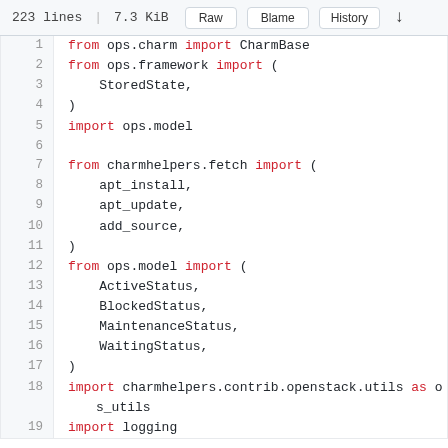223 lines | 7.3 KiB   Raw   Blame   History
1  from ops.charm import CharmBase
2  from ops.framework import (
3      StoredState,
4  )
5  import ops.model
6  
7  from charmhelpers.fetch import (
8      apt_install,
9      apt_update,
10     add_source,
11 )
12 from ops.model import (
13     ActiveStatus,
14     BlockedStatus,
15     MaintenanceStatus,
16     WaitingStatus,
17 )
18 import charmhelpers.contrib.openstack.utils as os_utils
19 import logging